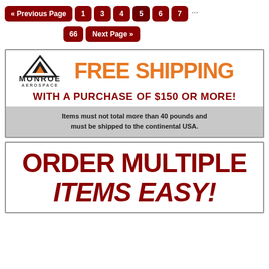[Figure (screenshot): Pagination navigation with dark red buttons: « Previous Page, 1, 3, 4, 5, 6, 7, ..., 66, Next Page »]
[Figure (infographic): Monroe Aerospace advertisement banner: FREE SHIPPING WITH A PURCHASE OF $150 OR MORE! Items must not total more than 40 pounds and must be shipped to the continental USA.]
[Figure (infographic): Advertisement banner: ORDER MULTIPLE ITEMS EASY!]